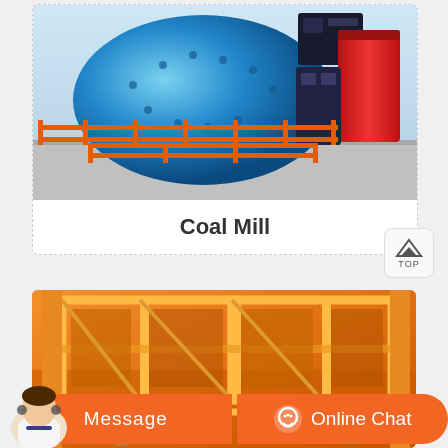[Figure (photo): Industrial blue ball mill / coal mill with orange safety railing fence, red cylindrical component on right, mounted on grey platform in industrial facility]
Coal Mill
[Figure (photo): Close-up of orange industrial equipment with structural metal frame sections, rectangular compartments, heavy-duty orange painted steel construction]
Message
Online Chat